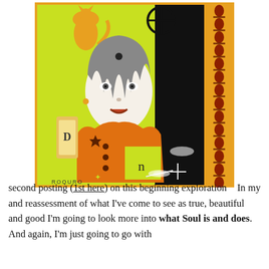[Figure (illustration): A colorful illustrated book cover or artwork featuring a young girl with long dark hair wearing an orange/brown coat, surrounded by surreal elements including a cat, dragonfly, bottles labeled 'D', and decorative patterns. The background is neon yellow-green on the left and black on the right. A decorative orange border with tulip-like motifs runs along the right edge. The artist signature reads 'ROQURO' at the bottom left.]
In my second posting (1st here) on this beginning exploration and reassessment of what I've come to see as true, beautiful and good I'm going to look more into what Soul is and does. And again, I'm just going to go with